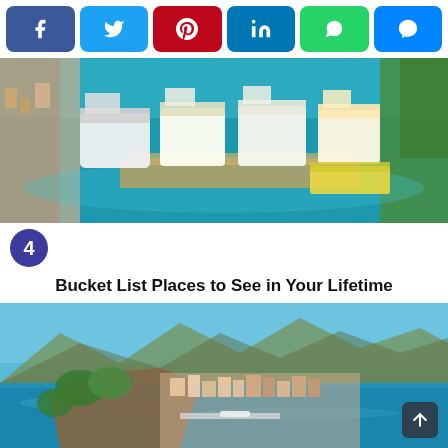[Figure (infographic): Social media sharing buttons: Facebook (dark blue), Twitter (light blue), Pinterest (red), LinkedIn (blue), WhatsApp (green), Messenger (blue)]
[Figure (photo): Aerial view of multiple cruise ships docked at a port with turquoise blue water and a strip of land with trees on the right]
4
Bucket List Places to See in Your Lifetime
[Figure (photo): Aerial view of a coastal town with a rocky peninsula, colorful buildings, green trees, and blue sea water with mountains in the background]